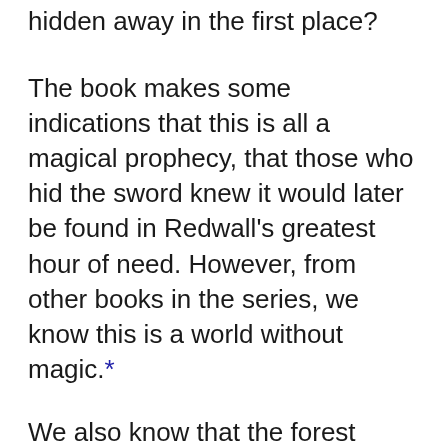hidden away in the first place?
The book makes some indications that this is all a magical prophecy, that those who hid the sword knew it would later be found in Redwall's greatest hour of need. However, from other books in the series, we know this is a world without magic.*
We also know that the forest around Redwall is a dangerous place and that it was much more dangerous in Martin's time. So the only conclusion is that the mice of Redwall intentionally got rid of a very useful sword on the hope that it would be discovered at the exact right moment by a blossoming hero. Instead of, say, a monk who was bored and enjoyed solving strange riddles.